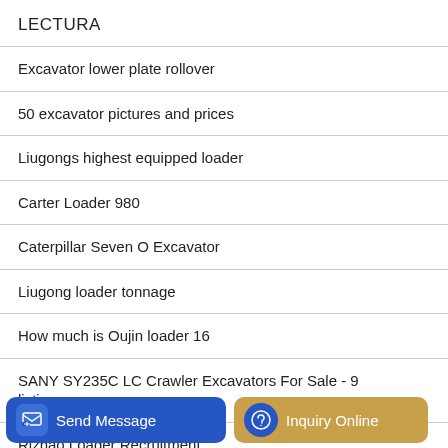LECTURA
Excavator lower plate rollover
50 excavator pictures and prices
Liugongs highest equipped loader
Carter Loader 980
Caterpillar Seven O Excavator
Liugong loader tonnage
How much is Oujin loader 16
SANY SY235C LC Crawler Excavators For Sale - 9 listings
Rizhao Loader Recruitment